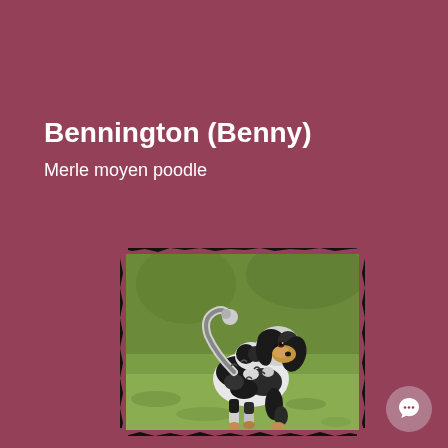Bennington (Benny)
Merle moyen poodle
[Figure (photo): A merle moyen poodle dog with black and white spotted coat standing on green grass, tail curled upward, looking at camera. Photo has a rough black border/frame effect.]